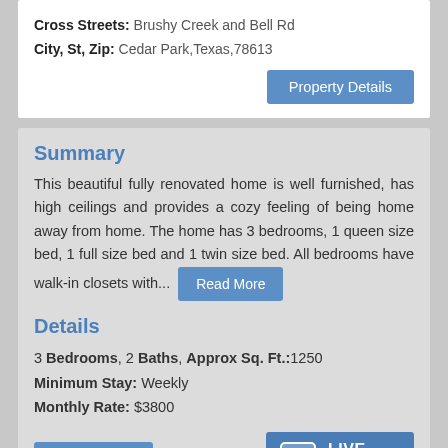Cross Streets: Brushy Creek and Bell Rd
City, St, Zip: Cedar Park,Texas,78613
Property Details
Summary
This beautiful fully renovated home is well furnished, has high ceilings and provides a cozy feeling of being home away from home. The home has 3 bedrooms, 1 queen size bed, 1 full size bed and 1 twin size bed. All bedrooms have walk-in closets with... Read More
Details
3 Bedrooms, 2 Baths, Approx Sq. Ft.:1250
Minimum Stay: Weekly
Monthly Rate: $3800
More Details
LIVE CHAT